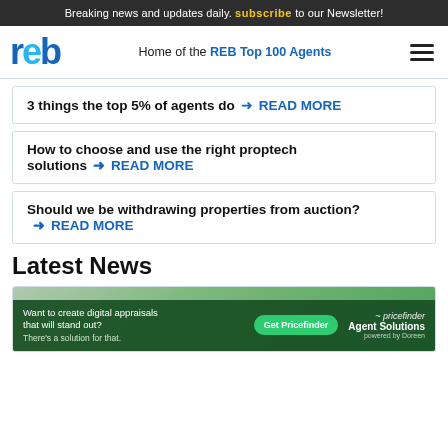Breaking news and updates daily. subscribe to our Newsletter!
reb — Home of the REB Top 100 Agents
3 things the top 5% of agents do → READ MORE
How to choose and use the right proptech solutions → READ MORE
Should we be withdrawing properties from auction? → READ MORE
Latest News
[Figure (screenshot): News article card with advertisement overlay: 'Want to create digital appraisals that will stand out? There's a solution for that.' with Get Pricefinder button and Agent Solutions branding.]